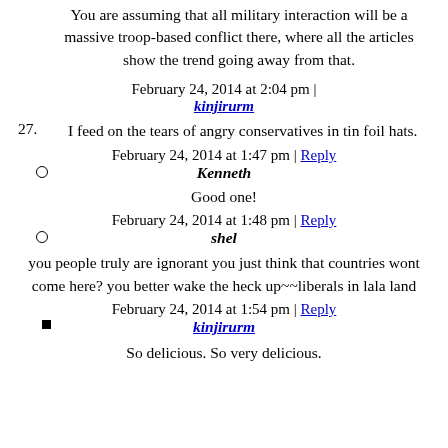You are assuming that all military interaction will be a massive troop-based conflict there, where all the articles show the trend going away from that.
February 24, 2014 at 2:04 pm | kinjirurm
27. I feed on the tears of angry conservatives in tin foil hats.
February 24, 2014 at 1:47 pm | Reply
Kenneth — Good one!
February 24, 2014 at 1:48 pm | Reply
shel — you people truly are ignorant you just think that countries wont come here? you better wake the heck up~~liberals in lala land
February 24, 2014 at 1:54 pm | Reply
kinjirurm — So delicious. So very delicious.